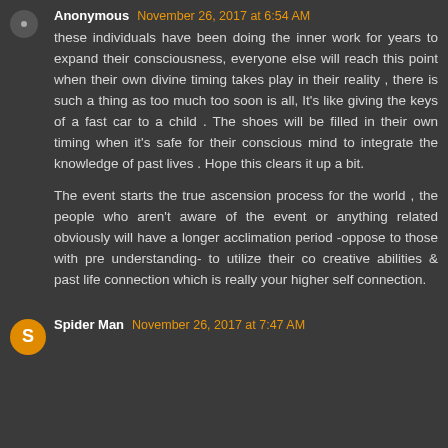Anonymous  November 26, 2017 at 6:54 AM
these individuals have been doing the inner work for years to expand their consciousness, everyone else will reach this point when their own divine timing takes play in their reality , there is such a thing as too much too soon is all, It's like giving the keys of a fast car to a child . The shoes will be filled in their own timing when it's safe for their conscious mind to integrate the knowledge of past lives . Hope this clears it up a bit.
The event starts the true ascension process for the world , the people who aren't aware of the event or anything related obviously will have a longer acclimation period -oppose to those with pre understanding- to utilize their co creative abilities & past life connection which is really your higher self connection.
Spider Man  November 26, 2017 at 7:47 AM